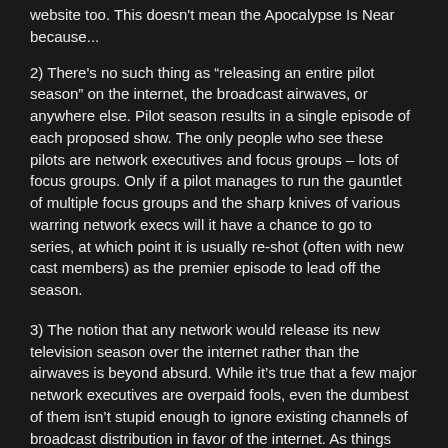website too. This doesn't mean the Apocalypse Is Near because...
2) There's no such thing as “releasing an entire pilot season” on the internet, the broadcast airwaves, or anywhere else. Pilot season results in a single episode of each proposed show. The only people who see these pilots are network executives and focus groups – lots of focus groups. Only if a pilot manages to run the gauntlet of multiple focus groups and the sharp knives of various warring network execs will it have a chance to go to series, at which point it is usually re-shot (often with new cast members) as the premier episode to lead off the season.
3) The notion that any network would release its new television season over the internet rather than the airwaves is beyond absurd. While it’s true that a few major network executives are overpaid fools, even the dumbest of them isn’t stupid enough to ignore existing channels of broadcast distribution in favor of the internet. As things stand now, this would be a colossal blunder, smothering the entire new lineup in its crib. Tens of millions would be lost, and the exec who made that fateful call would be summarily issued his golden parachute and ejected from the corporate Gulfstream V.